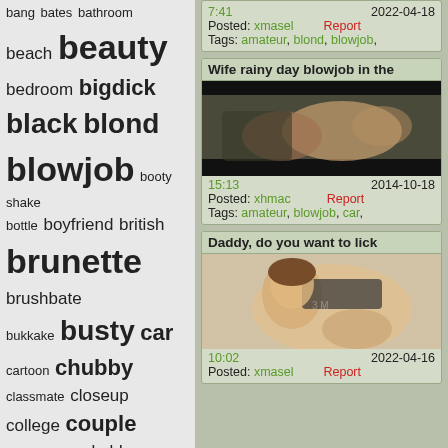bang bates bathroom beach beauty bedroom bigdick black blond blowjob booty shake bottle boyfriend british brunette brushbate bukkake busty car cartoon chubby classmate closeup college couple creampie cuckold cumshot cunnilingus cunt cutie deepthroat dildo doggy double drunk emo extreme facesitting facial family fetish fingering firsttime fisting flashing footjob french fuck fun games german girlfriend grown
7:41  2022-04-18
Posted: xmasel  Report
Tags: amateur, blond, blowjob,
Wife rainy day blowjob in the
[Figure (photo): Video thumbnail showing a blowjob scene in a car]
15:13  2014-10-18
Posted: xhmac  Report
Tags: amateur, blowjob, car,
Daddy, do you want to lick
[Figure (photo): Video thumbnail showing a young woman touching herself]
10:02  2022-04-16
Posted: xmasel  Report